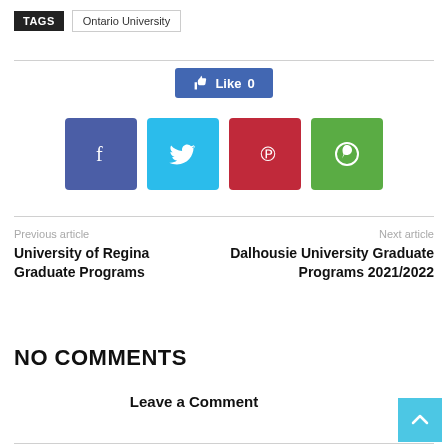TAGS  Ontario University
[Figure (other): Facebook Like button showing 'Like 0' in blue]
[Figure (other): Social share buttons: Facebook (blue-purple), Twitter (light blue), Pinterest (red), WhatsApp (green)]
Previous article
University of Regina Graduate Programs
Next article
Dalhousie University Graduate Programs 2021/2022
NO COMMENTS
Leave a Comment